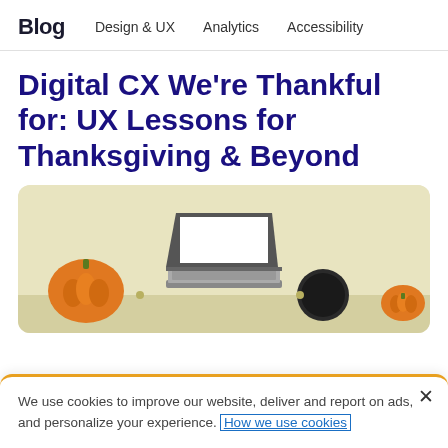Blog   Design & UX   Analytics   Accessibility
Digital CX We’re Thankful for: UX Lessons for Thanksgiving & Beyond
[Figure (photo): Overhead flat-lay photo on a light olive/yellow background showing a laptop computer with a white screen open, an orange pumpkin to the left, a dark round speaker or mug to the right, on a desk surface.]
We use cookies to improve our website, deliver and report on ads, and personalize your experience. How we use cookies